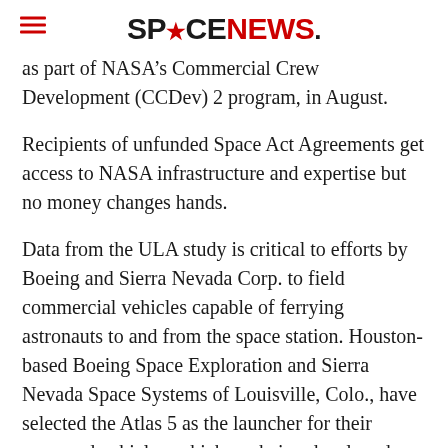SPACENEWS
as part of NASA’s Commercial Crew Development (CCDev) 2 program, in August.
Recipients of unfunded Space Act Agreements get access to NASA infrastructure and expertise but no money changes hands.
Data from the ULA study is critical to efforts by Boeing and Sierra Nevada Corp. to field commercial vehicles capable of ferrying astronauts to and from the space station. Houston-based Boeing Space Exploration and Sierra Nevada Space Systems of Louisville, Colo., have selected the Atlas 5 as the launcher for their proposed vehicles, which are being developed under funded Space Act Agreements awarded by NASA in August.